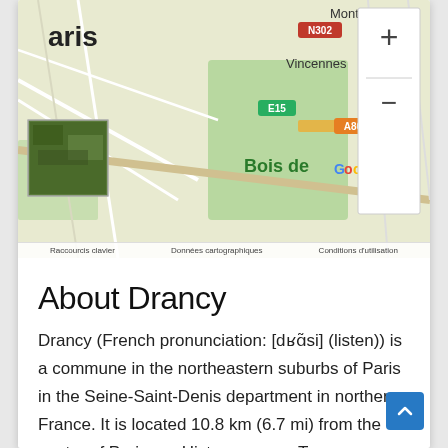[Figure (map): Google Maps screenshot showing the Paris/Vincennes/Bois area with roads, labels for Montreuil, Vincennes, Bois, Google watermark, zoom controls (+/-), and a satellite thumbnail. Route labels N302, E15, A86 visible.]
About Drancy
Drancy (French pronunciation: [dʁɑ̃si] (listen)) is a commune in the northeastern suburbs of Paris in the Seine-Saint-Denis department in northern France. It is located 10.8 km (6.7 mi) from the center of Paris. == History == === Toponymy === The name Drancy comes from Medieval Latin Derenciacum, and before that Terentiacum, meaning "estate of Terentius", a Gallo-Roman landowner. === Origins to 20th